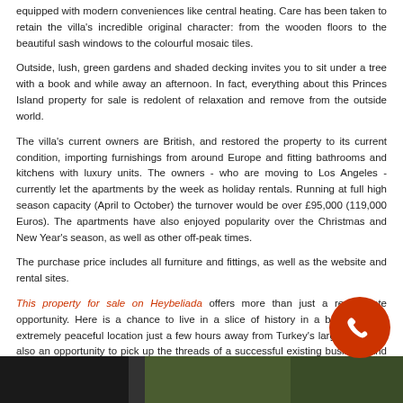equipped with modern conveniences like central heating. Care has been taken to retain the villa's incredible original character: from the wooden floors to the beautiful sash windows to the colourful mosaic tiles.
Outside, lush, green gardens and shaded decking invites you to sit under a tree with a book and while away an afternoon. In fact, everything about this Princes Island property for sale is redolent of relaxation and remove from the outside world.
The villa's current owners are British, and restored the property to its current condition, importing furnishings from around Europe and fitting bathrooms and kitchens with luxury units. The owners - who are moving to Los Angeles - currently let the apartments by the week as holiday rentals. Running at full high season capacity (April to October) the turnover would be over £95,000 (119,000 Euros). The apartments have also enjoyed popularity over the Christmas and New Year's season, as well as other off-peak times.
The purchase price includes all furniture and fittings, as well as the website and rental sites.
This property for sale on Heybeliada offers more than just a real estate opportunity. Here is a chance to live in a slice of history in a beautiful and extremely peaceful location just a few hours away from Turkey's largest city. It's also an opportunity to pick up the threads of a successful existing business and make it your own.
[Figure (photo): Bottom strip showing outdoor scenery with trees and greenery, dark building segment on left]